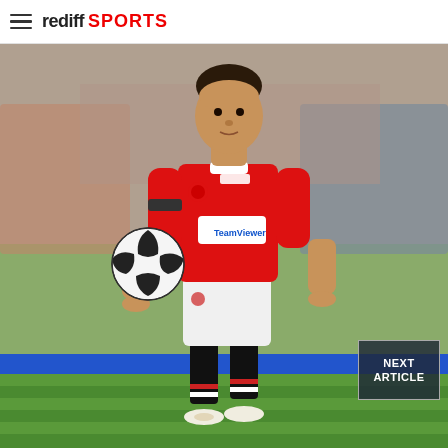rediff SPORTS
[Figure (photo): A Manchester United footballer in red kit with TeamViewer sponsor, wearing white shorts and black socks, dribbling on a football pitch in front of a crowd. A football is visible to his left side.]
NEXT ARTICLE